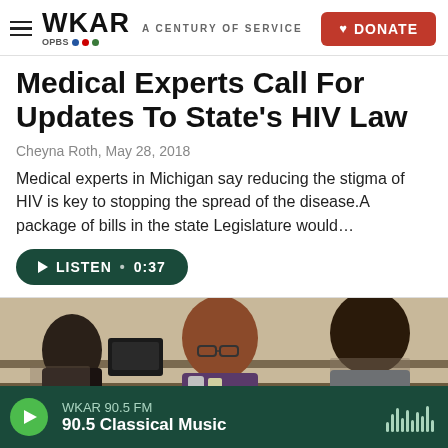WKAR · A CENTURY OF SERVICE · DONATE
Medical Experts Call For Updates To State's HIV Law
Cheyna Roth, May 28, 2018
Medical experts in Michigan say reducing the stigma of HIV is key to stopping the spread of the disease.A package of bills in the state Legislature would…
[Figure (other): Green rounded button with play triangle icon and text LISTEN • 0:37]
[Figure (photo): Photo of three women seated at a table, appears to be a legislative or panel setting]
WKAR 90.5 FM · 90.5 Classical Music